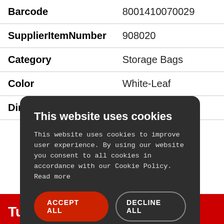| Barcode | 8001410070029 |
| SupplierItemNumber | 908020 |
| Category | Storage Bags |
| Color | White-Leaf |
| Dimensions | 45x55x25cm |
[Figure (screenshot): Cookie consent overlay dialog with dark background, title 'This website uses cookies', body text about cookie policy, Accept All button (red), Decline All button (outlined), and Show Details link with gear icon.]
Tu p